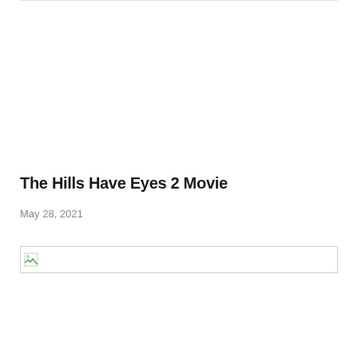The Hills Have Eyes 2 Movie
May 28, 2021
[Figure (photo): Broken image placeholder with small icon, wide horizontal format]